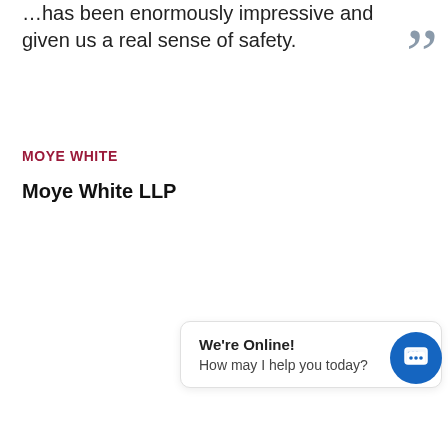…has been enormously impressive and given us a real sense of safety.
MOYE WHITE
Moye White LLP
We're Online! How may I help you today?